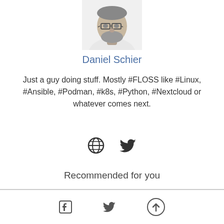[Figure (photo): Black and white headshot photo of Daniel Schier, a man with glasses and a beard wearing a white shirt, shown from chest upward]
Daniel Schier
Just a guy doing stuff. Mostly #FLOSS like #Linux, #Ansible, #Podman, #k8s, #Python, #Nextcloud or whatever comes next.
[Figure (infographic): Two social media icons: a globe/website icon and a Twitter bird icon]
Recommended for you
[Figure (infographic): Bottom navigation bar with Facebook icon, Twitter bird icon, and an up-arrow circle button]